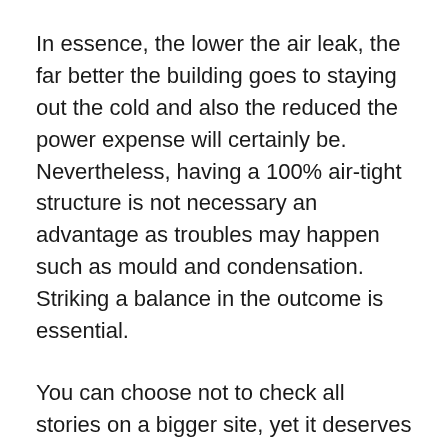In essence, the lower the air leak, the far better the building goes to staying out the cold and also the reduced the power expense will certainly be. Nevertheless, having a 100% air-tight structure is not necessary an advantage as troubles may happen such as mould and condensation. Striking a balance in the outcome is essential.
You can choose not to check all stories on a bigger site, yet it deserves noting that the SAP rating will certainly be punished on those not checked. This is commonly referred to as self-confidence factor.
Why choose us?